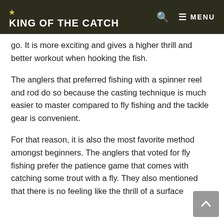KING OF THE CATCH
go. It is more exciting and gives a higher thrill and better workout when hooking the fish.
The anglers that preferred fishing with a spinner reel and rod do so because the casting technique is much easier to master compared to fly fishing and the tackle gear is convenient.
For that reason, it is also the most favorite method amongst beginners. The anglers that voted for fly fishing prefer the patience game that comes with catching some trout with a fly. They also mentioned that there is no feeling like the thrill of a surface